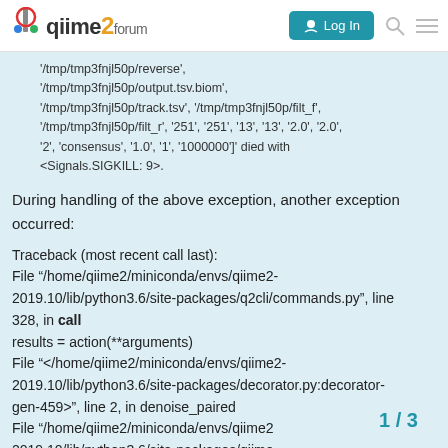qiime2 forum | Log In
'/tmp/tmp3fnjl50p/reverse', '/tmp/tmp3fnjl50p/output.tsv.biom', '/tmp/tmp3fnjl50p/track.tsv', '/tmp/tmp3fnjl50p/filt_f', '/tmp/tmp3fnjl50p/filt_r', '251', '251', '13', '13', '2.0', '2.0', '2', 'consensus', '1.0', '1', '1000000']' died with <Signals.SIGKILL: 9>.
During handling of the above exception, another exception occurred:
Traceback (most recent call last):
File "/home/qiime2/miniconda/envs/qiime2-2019.10/lib/python3.6/site-packages/q2cli/commands.py", line 328, in call
results = action(**arguments)
File "</home/qiime2/miniconda/envs/qiime2-2019.10/lib/python3.6/site-packages/decorator.py:decorator-gen-459>", line 2, in denoise_paired
File "/home/qiime2/miniconda/envs/qiime2 2019.10/lib/python3.6/site-packages/qiime
1 / 3